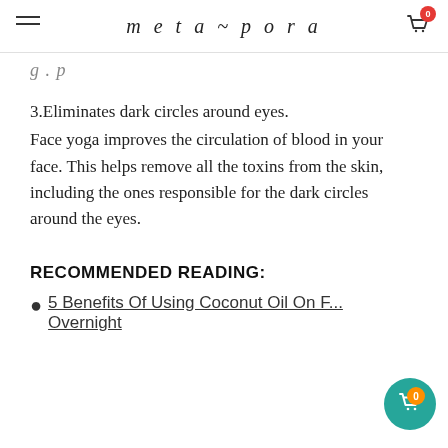meta~pora
g . p
3.Eliminates dark circles around eyes.
Face yoga improves the circulation of blood in your face. This helps remove all the toxins from the skin, including the ones responsible for the dark circles around the eyes.
RECOMMENDED READING:
5 Benefits Of Using Coconut Oil On F... Overnight